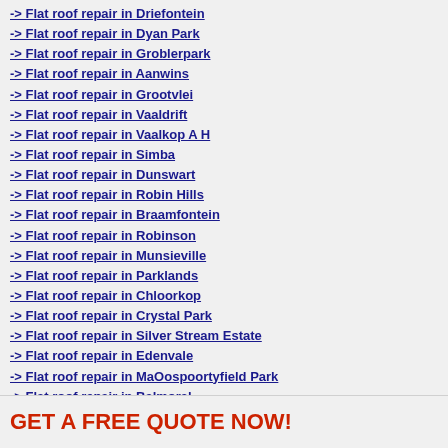-> Flat roof repair in Driefontein
-> Flat roof repair in Dyan Park
-> Flat roof repair in Groblerpark
-> Flat roof repair in Aanwins
-> Flat roof repair in Grootvlei
-> Flat roof repair in Vaaldrift
-> Flat roof repair in Vaalkop A H
-> Flat roof repair in Simba
-> Flat roof repair in Dunswart
-> Flat roof repair in Robin Hills
-> Flat roof repair in Braamfontein
-> Flat roof repair in Robinson
-> Flat roof repair in Munsieville
-> Flat roof repair in Parklands
-> Flat roof repair in Chloorkop
-> Flat roof repair in Crystal Park
-> Flat roof repair in Silver Stream Estate
-> Flat roof repair in Edenvale
-> Flat roof repair in MaOospoortyfield Park
-> Flat roof repair in Balmoral
-> Flat roof repair in Nicomar
GET A FREE QUOTE NOW!